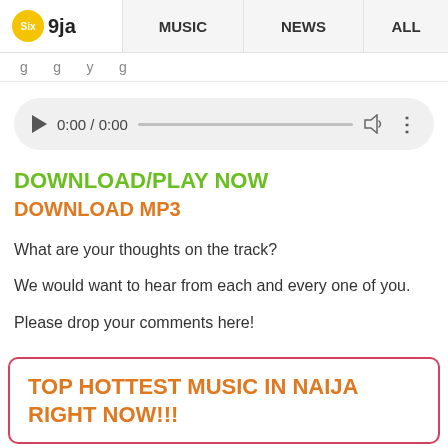Six9ja | MUSIC | NEWS | ALL
g   g   y   g
[Figure (other): Audio player widget showing 0:00 / 0:00 with play button, progress bar, volume icon, and more options icon]
DOWNLOAD/PLAY NOW
DOWNLOAD MP3
What are your thoughts on the track?
We would want to hear from each and every one of you.
Please drop your comments here!
TOP HOTTEST MUSIC IN NAIJA RIGHT NOW!!!